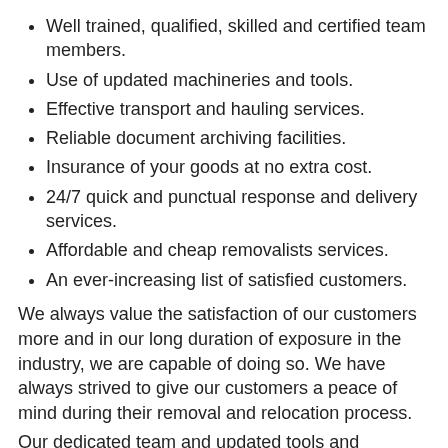Well trained, qualified, skilled and certified team members.
Use of updated machineries and tools.
Effective transport and hauling services.
Reliable document archiving facilities.
Insurance of your goods at no extra cost.
24/7 quick and punctual response and delivery services.
Affordable and cheap removalists services.
An ever-increasing list of satisfied customers.
We always value the satisfaction of our customers more and in our long duration of exposure in the industry, we are capable of doing so. We have always strived to give our customers a peace of mind during their removal and relocation process.
Our dedicated team and updated tools and equipments supported by excellent
transit vehicles makes us the most renowned and reputed